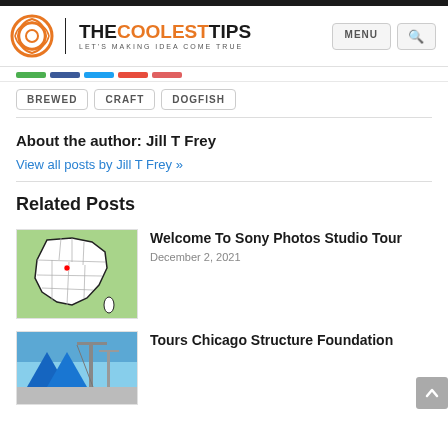TheCoolestTips - LET'S MAKING IDEA COME TRUE
BREWED
CRAFT
DOGFISH
About the author: Jill T Frey
View all posts by Jill T Frey »
Related Posts
[Figure (map): Map of France showing regions]
Welcome To Sony Photos Studio Tour
December 2, 2021
[Figure (photo): Photo showing a city structure with cranes and blue sky]
Tours Chicago Structure Foundation